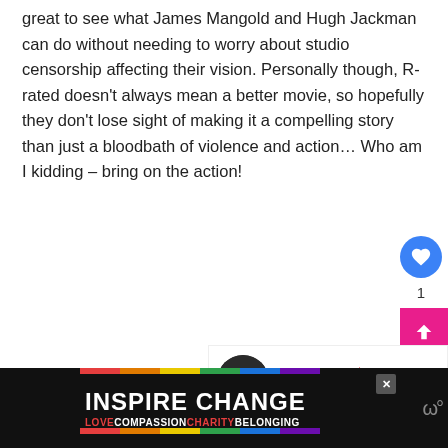great to see what James Mangold and Hugh Jackman can do without needing to worry about studio censorship affecting their vision. Personally though, R-rated doesn't always mean a better movie, so hopefully they don't lose sight of making it a compelling story than just a bloodbath of violence and action… Who am I kidding – bring on the action!
[Figure (other): WHAT'S NEXT panel with thumbnail showing Batman Animated... article link]
[Figure (infographic): INSPIRE CHANGE advertisement banner with rainbow gradient and text LOVE COMPASSION CHARITY BELONGING]